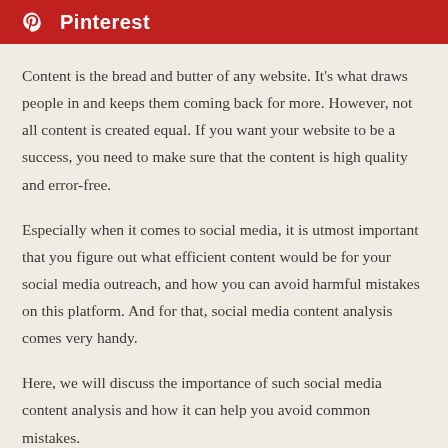Pinterest
Content is the bread and butter of any website. It's what draws people in and keeps them coming back for more. However, not all content is created equal. If you want your website to be a success, you need to make sure that the content is high quality and error-free.
Especially when it comes to social media, it is utmost important that you figure out what efficient content would be for your social media outreach, and how you can avoid harmful mistakes on this platform. And for that, social media content analysis comes very handy.
Here, we will discuss the importance of such social media content analysis and how it can help you avoid common mistakes.